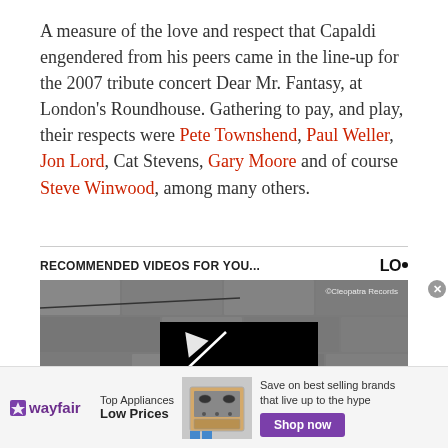A measure of the love and respect that Capaldi engendered from his peers came in the line-up for the 2007 tribute concert Dear Mr. Fantasy, at London's Roundhouse. Gathering to pay, and play, their respects were Pete Townshend, Paul Weller, Jon Lord, Cat Stevens, Gary Moore and of course Steve Winwood, among many others.
RECOMMENDED VIDEOS FOR YOU...
[Figure (screenshot): Video player thumbnail showing a dark stone wall background with a black video player box in the center containing a white play button arrow. Copyright text 'Cleopatra Records' in top right.]
[Figure (other): Wayfair advertisement banner. Wayfair logo on left, 'Top Appliances Low Prices' text, image of appliance/stove in center, 'Save on best selling brands that live up to the hype' with 'Shop now' purple button on right.]